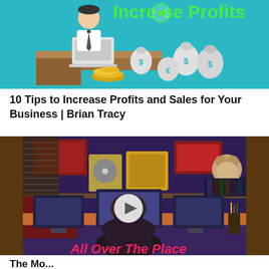[Figure (illustration): Thumbnail image showing a cartoon businessman at a desk with money bags and gold coins, teal background with text 'Increase Profits' and a play button overlay]
10 Tips to Increase Profits and Sales for Your Business | Brian Tracy
[Figure (illustration): Thumbnail image showing an animated character sitting at a desk with multiple computer monitors in a dark room, with neon text 'All Over The Place' and a play button overlay, dark brown background]
The Mo...